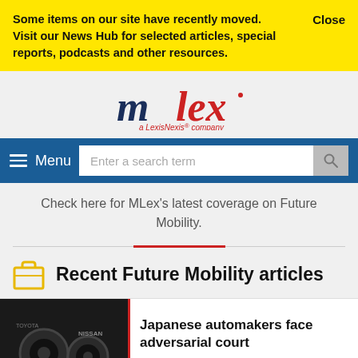Some items on our site have recently moved. Visit our News Hub for selected articles, special reports, podcasts and other resources.
Close
[Figure (logo): MLex - a LexisNexis company logo]
Menu
Enter a search term
Check here for MLex's latest coverage on Future Mobility.
Recent Future Mobility articles
[Figure (photo): Photo of car tires/wheels on the ground with a yellow accent]
Japanese automakers face adversarial court